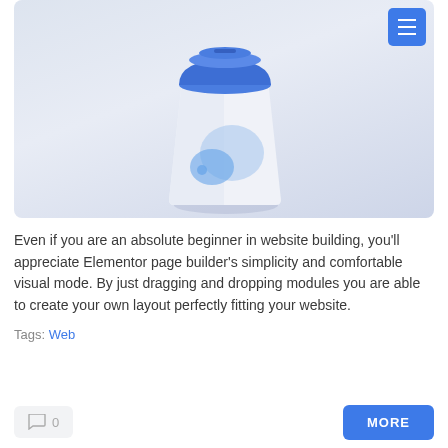[Figure (photo): A white takeaway coffee cup with a blue lid, featuring a light blue decorative splash/logo graphic on the body. The cup sits on a light blue-grey gradient background. A blue hamburger menu button appears in the top-right corner of the image area.]
Even if you are an absolute beginner in website building, you'll appreciate Elementor page builder's simplicity and comfortable visual mode. By just dragging and dropping modules you are able to create your own layout perfectly fitting your website.
Tags: Web
0
MORE